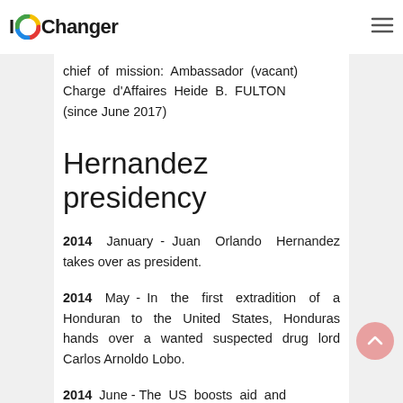IOChanger
chief of mission: Ambassador (vacant) Charge d'Affaires Heide B. FULTON (since June 2017)
Hernandez presidency
2014  January - Juan Orlando Hernandez takes over as president.
2014  May - In the first extradition of a Honduran to the United States, Honduras hands over a wanted suspected drug lord Carlos Arnoldo Lobo.
2014  June - The US boosts aid and